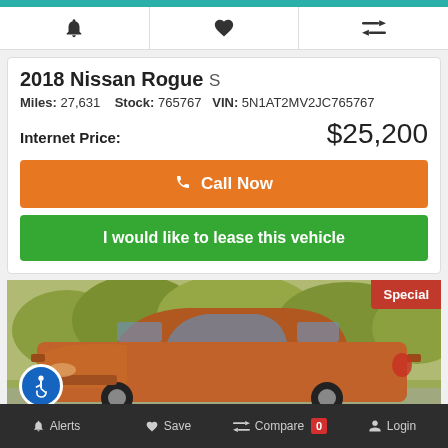[Figure (screenshot): Mobile car dealership listing app toolbar with bell (Alerts), heart (Save), and compare icons]
2018 Nissan Rogue S
Miles: 27,631   Stock: 765767   VIN: 5N1AT2MV2JC765767
Internet Price: $25,200
Call Now
I would like to lease this vehicle
[Figure (photo): Orange/bronze 2018 Nissan Rogue SUV photographed outdoors with trees in background, Special badge in top-right corner]
Alerts   Save   Compare 0   Login